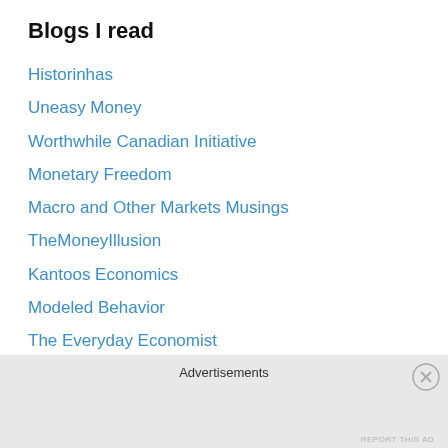Blogs I read
Historinhas
Uneasy Money
Worthwhile Canadian Initiative
Monetary Freedom
Macro and Other Markets Musings
TheMoneyIllusion
Kantoos Economics
Modeled Behavior
The Everyday Economist
Ilusión Monetaria (in Spanish)
NGDP.info
The Old Lady at Threadneedle Street (In Spanish)
Y C Richard Wong's blog
William Barnett
Macro matters
Advertisements